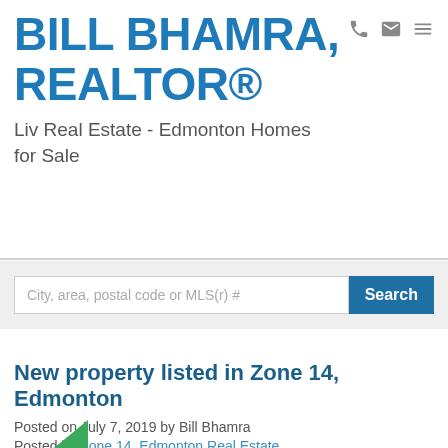BILL BHAMRA, REALTOR®
Liv Real Estate - Edmonton Homes for Sale
[Figure (screenshot): Navigation icons: phone, email, hamburger menu]
City, area, postal code or MLS(r) #
New property listed in Zone 14, Edmonton
Posted on July 7, 2019 by Bill Bhamra
Posted in: Zone 14, Edmonton Real Estate
[Figure (illustration): Green badge/logo partially visible at bottom]